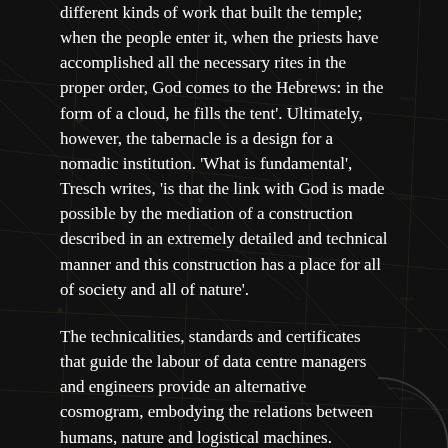different kinds of work that built the temple; when the people enter it, when the priests have accomplished all the necessary rites in the proper order, God comes to the Hebrews: in the form of a cloud, he fills the tent'. Ultimately, however, the tabernacle is a design for a nomadic institution. 'What is fundamental', Tresch writes, 'is that the link with God is made possible by the mediation of a construction described in an extremely detailed and technical manner and this construction has a place for all of society and all of nature'.
The technicalities, standards and certificates that guide the labour of data centre managers and engineers provide an alternative cosmogram, embodying the relations between humans, nature and logistical machines. Architects are now rushing to design data centres as aestheticized machine landscapes or avant-garde leisure zones (see, for example, OMA's Museum in the Countryside), to appeal to those whose 'chronopolitics' (Sharma) are entangled with the